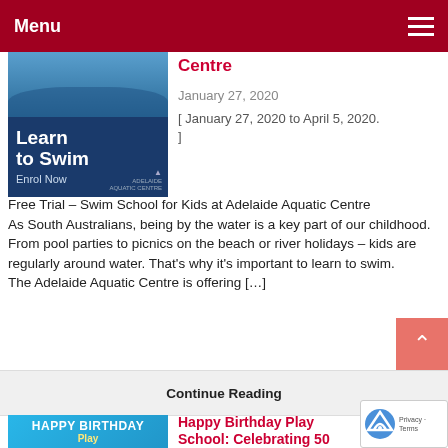Menu
[Figure (photo): Learn to Swim Enrol Now advertisement image for Adelaide Aquatic Centre]
Centre
January 27, 2020
[ January 27, 2020 to April 5, 2020. ]
Free Trial – Swim School for Kids at Adelaide Aquatic Centre
As South Australians, being by the water is a key part of our childhood. From pool parties to picnics on the beach or river holidays – kids are regularly around water. That's why it's important to learn to swim.
The Adelaide Aquatic Centre is offering […]
Continue Reading
[Figure (photo): Happy Birthday Play School banner image with colorful letters]
Happy Birthday Play School: Celebrating 50 Years | Maritime Museum